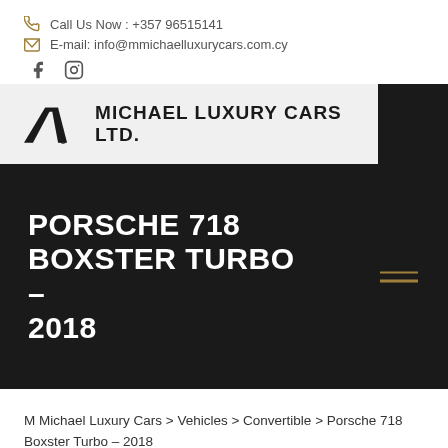Call Us Now : +357 96515141
E-mail: info@mmichaelluxurycars.com.cy
[Figure (logo): Michael Luxury Cars Ltd. logo with stylized M icon]
PORSCHE 718 BOXSTER TURBO – 2018
M Michael Luxury Cars > Vehicles > Convertible > Porsche 718 Boxster Turbo – 2018